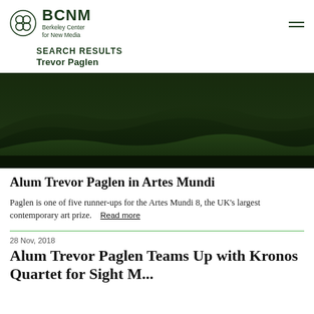BCNM Berkeley Center for New Media
SEARCH RESULTS
Trevor Paglen
[Figure (photo): Dark green landscape photo showing rolling hills or mountains with deep forest green tones, used as hero image for article about Trevor Paglen in Artes Mundi]
Alum Trevor Paglen in Artes Mundi
Paglen is one of five runner-ups for the Artes Mundi 8, the UK's largest contemporary art prize.  Read more
28 Nov, 2018
Alum Trevor Paglen Teams Up with Kronos Quartet for Sight M...